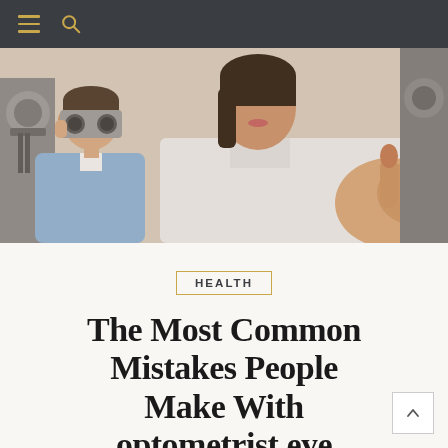Navigation header with hamburger menu and search icon
[Figure (photo): An optometrist in a white coat pointing her finger toward the camera, sitting next to a male patient who is wearing a phoropter (trial frame) for an eye examination. Medical clinic setting.]
HEALTH
The Most Common Mistakes People Make With optometrist eye